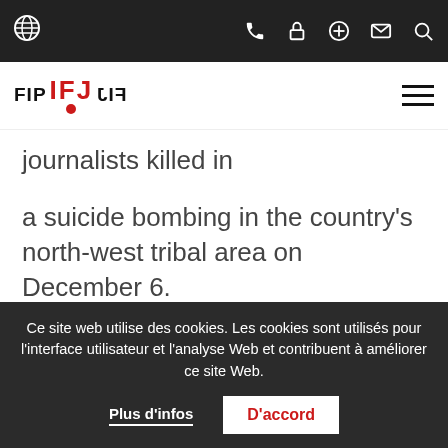IFJ navigation bar with globe icon, phone, lock, plus, mail, search icons
[Figure (logo): IFJ logo with FIP and FIJ text in black and red]
journalists killed in
a suicide bombing in the country's north-west tribal area on December 6.
Abdul Wahab, of Express News, and
Pervez Khan, of WAQT TV, were among 50 people at a
Ce site web utilise des cookies. Les cookies sont utilisés pour l'interface utilisateur et l'analyse Web et contribuent à améliorer ce site Web.
Plus d'infos
D'accord